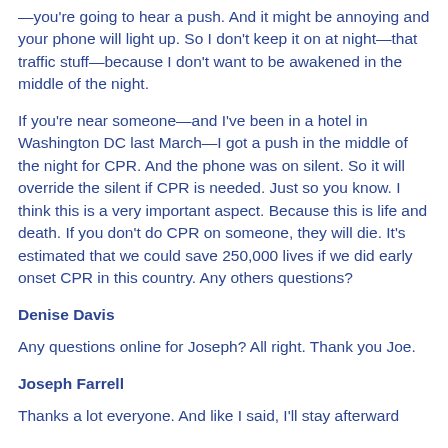—you're going to hear a push. And it might be annoying and your phone will light up. So I don't keep it on at night—that traffic stuff—because I don't want to be awakened in the middle of the night.
If you're near someone—and I've been in a hotel in Washington DC last March—I got a push in the middle of the night for CPR. And the phone was on silent. So it will override the silent if CPR is needed. Just so you know. I think this is a very important aspect. Because this is life and death. If you don't do CPR on someone, they will die. It's estimated that we could save 250,000 lives if we did early onset CPR in this country. Any others questions?
Denise Davis
Any questions online for Joseph? All right. Thank you Joe.
Joseph Farrell
Thanks a lot everyone. And like I said, I'll stay afterward